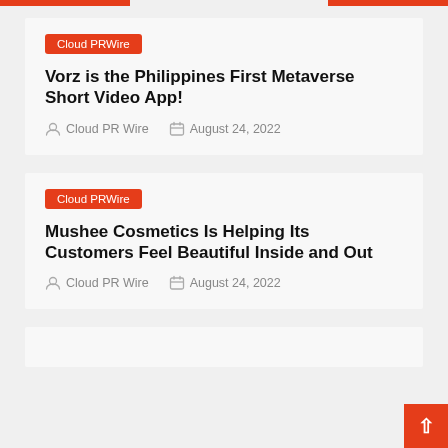Cloud PRWire
Vorz is the Philippines First Metaverse Short Video App!
Cloud PR Wire   August 24, 2022
Cloud PRWire
Mushee Cosmetics Is Helping Its Customers Feel Beautiful Inside and Out
Cloud PR Wire   August 24, 2022